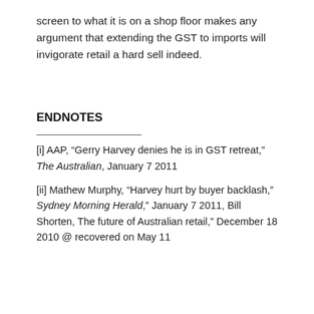screen to what it is on a shop floor makes any argument that extending the GST to imports will invigorate retail a hard sell indeed.
ENDNOTES
[i] AAP, “Gerry Harvey denies he is in GST retreat,” The Australian, January 7 2011
[ii] Mathew Murphy, “Harvey hurt by buyer backlash,” Sydney Morning Herald,” January 7 2011, Bill Shorten, The future of Australian retail,” December 18 2010 @ recovered on May 11